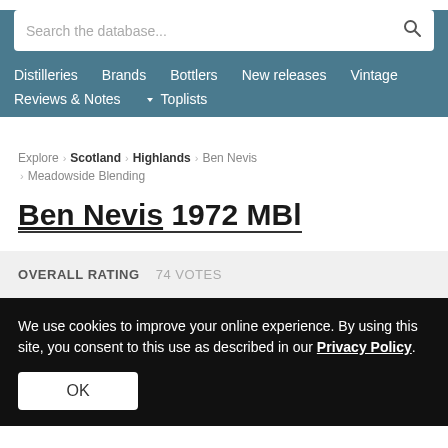Search the database... [search icon]
Distilleries  Brands  Bottlers  New releases  Vintage  Reviews & Notes  Toplists
Explore › Scotland › Highlands › Ben Nevis › Meadowside Blending
Ben Nevis 1972 MBl
OVERALL RATING  74 VOTES
We use cookies to improve your online experience. By using this site, you consent to this use as described in our Privacy Policy.
OK